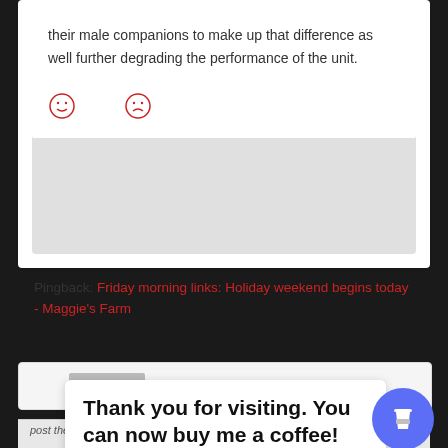their male companions to make up that difference as well further degrading the performance of the unit.
[Figure (other): Two emoticons: a happy face and a sad face, rendered in red]
Pingback: Friday morning links: Holiday weekend begins today - Maggie's Farm
Thank you for visiting. You can now buy me a coffee!
post the occasional lunatic gender equality piece